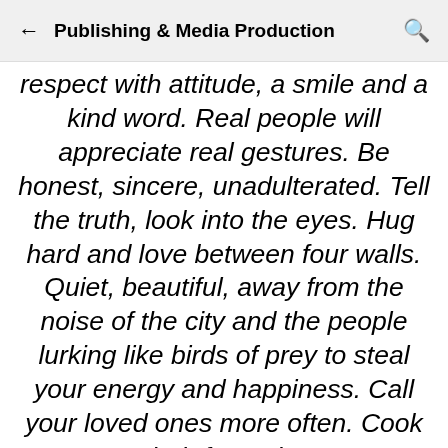Publishing & Media Production
respect with attitude, a smile and a kind word. Real people will appreciate real gestures. Be honest, sincere, unadulterated. Tell the truth, look into the eyes. Hug hard and love between four walls. Quiet, beautiful, away from the noise of the city and the people lurking like birds of prey to steal your energy and happiness. Call your loved ones more often. Cook their favourite